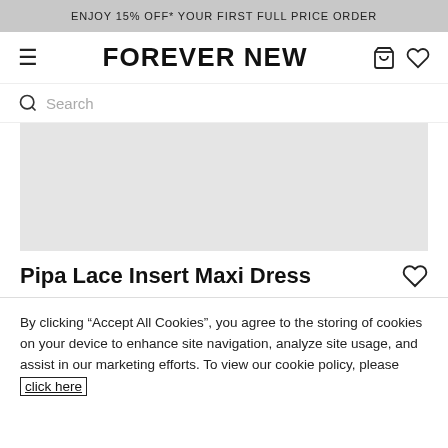ENJOY 15% OFF* YOUR FIRST FULL PRICE ORDER
FOREVER NEW
Search
[Figure (other): Light grey image placeholder rectangle for product photo]
Pipa Lace Insert Maxi Dress
By clicking "Accept All Cookies", you agree to the storing of cookies on your device to enhance site navigation, analyze site usage, and assist in our marketing efforts. To view our cookie policy, please click here